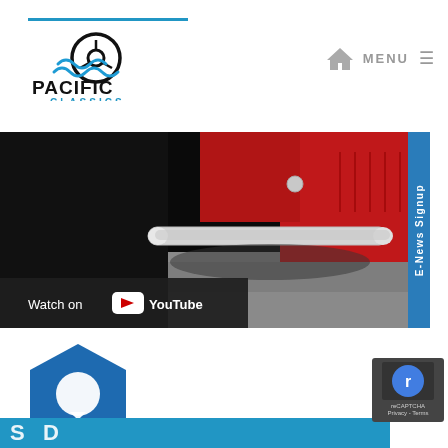[Figure (logo): Pacific Classics logo with steering wheel and waves icon, text PACIFIC CLASSICS in black and blue]
[Figure (screenshot): Website screenshot showing a YouTube video thumbnail of a red classic car's chrome bumper close-up, with 'Watch on YouTube' overlay bar, and E-News Signup tab on the right side]
[Figure (other): Bottom section showing blue hexagon shape with speech bubble icon and partial blue diagonal text, plus reCAPTCHA badge bottom right]